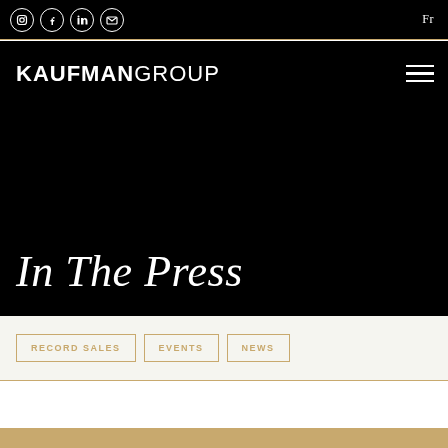Social icons: Instagram, Facebook, LinkedIn, Email | Fr
[Figure (logo): KAUFMAN GROUP logo in white on black background with hamburger menu icon]
In The Press
RECORD SALES
EVENTS
NEWS